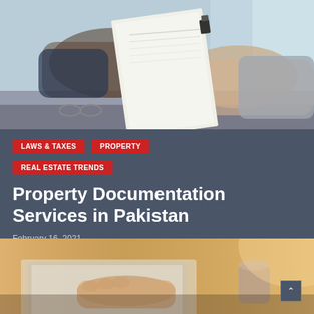[Figure (photo): Two hands exchanging a document with a binder clip, blurred background showing an office or window environment]
LAWS & TAXES
PROPERTY
REAL ESTATE TRENDS
Property Documentation Services in Pakistan
February 16, 2021
[Figure (photo): Close-up of hands working at a desk with a laptop, warm golden light, office setting]